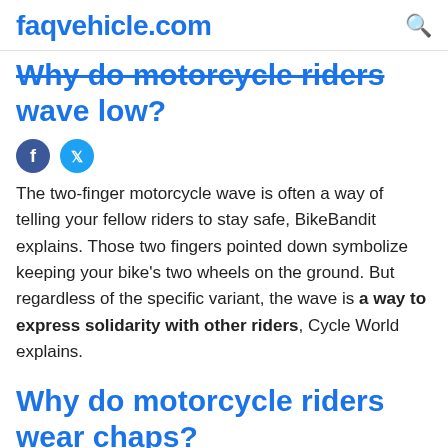faqvehicle.com
Why do motorcycle riders wave low?
[Figure (other): Facebook and Twitter social share icons]
The two-finger motorcycle wave is often a way of telling your fellow riders to stay safe, BikeBandit explains. Those two fingers pointed down symbolize keeping your bike's two wheels on the ground. But regardless of the specific variant, the wave is a way to express solidarity with other riders, Cycle World explains.
Why do motorcycle riders wear chaps?